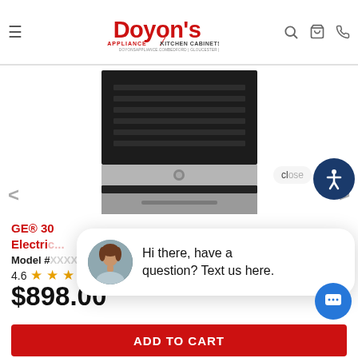[Figure (logo): Doyon's Appliance Kitchen Cabinets logo with red text, doyonsappliance.com, Bedford, Gloucester, Reading]
[Figure (photo): GE electric range/stove product photo with black top and stainless steel bottom, front-facing view]
GE® 30 Electric... (product title in red)
Model #
4.6 stars (9,341) reviews
$898.00
[Figure (infographic): Chat bubble overlay with avatar photo of woman and text: Hi there, have a question? Text us here.]
ADD TO CART